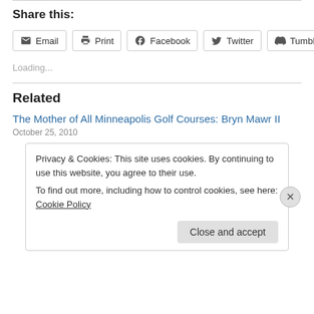Share this:
[Figure (infographic): Row of share buttons: Email, Print, Facebook, Twitter, Tumblr]
Loading...
Related
The Mother of All Minneapolis Golf Courses: Bryn Mawr II
October 25, 2010
Privacy & Cookies: This site uses cookies. By continuing to use this website, you agree to their use.
To find out more, including how to control cookies, see here: Cookie Policy
Close and accept